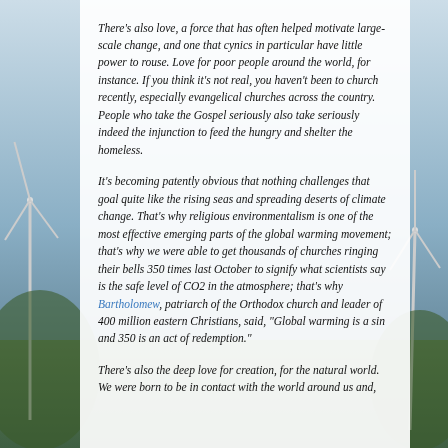There's also love, a force that has often helped motivate large-scale change, and one that cynics in particular have little power to rouse. Love for poor people around the world, for instance. If you think it's not real, you haven't been to church recently, especially evangelical churches across the country. People who take the Gospel seriously also take seriously indeed the injunction to feed the hungry and shelter the homeless.
It's becoming patently obvious that nothing challenges that goal quite like the rising seas and spreading deserts of climate change. That's why religious environmentalism is one of the most effective emerging parts of the global warming movement; that's why we were able to get thousands of churches ringing their bells 350 times last October to signify what scientists say is the safe level of CO2 in the atmosphere; that's why Bartholomew, patriarch of the Orthodox church and leader of 400 million eastern Christians, said, "Global warming is a sin and 350 is an act of redemption."
There's also the deep love for creation, for the natural world. We were born to be in contact with the world around us and, the deeper that contact is, the bigger the love for...